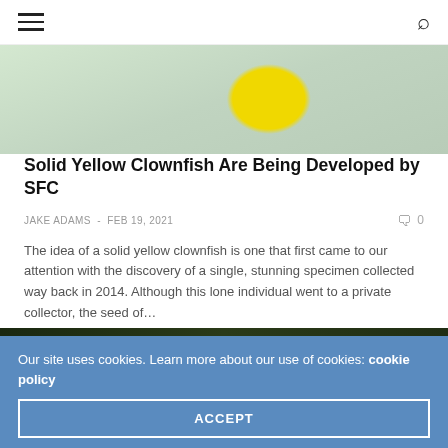Navigation menu and search icon
[Figure (photo): Close-up photo of a solid yellow clownfish with dark markings against a light greenish background]
Solid Yellow Clownfish Are Being Developed by SFC
JAKE ADAMS - FEB 19, 2021   0
The idea of a solid yellow clownfish is one that first came to our attention with the discovery of a single, stunning specimen collected way back in 2014. Although this lone individual went to a private collector, the seed of…
[Figure (photo): Close-up photo of orange and blue fish against a dark green background]
Our site uses cookies. Learn more about our use of cookies: cookie policy
ACCEPT